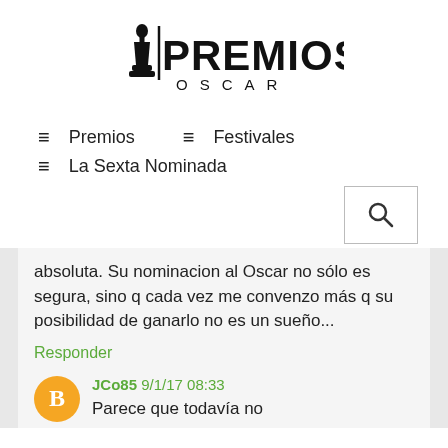[Figure (logo): Premios Oscar logo with Oscar statuette silhouette and text PREMIOS OSCAR]
≡ Premios   ≡ Festivales
≡ La Sexta Nominada
absoluta. Su nominacion al Oscar no sólo es segura, sino q cada vez me convenzo más q su posibilidad de ganarlo no es un sueño...
Responder
JCo85 9/1/17 08:33
Parece que todavía no